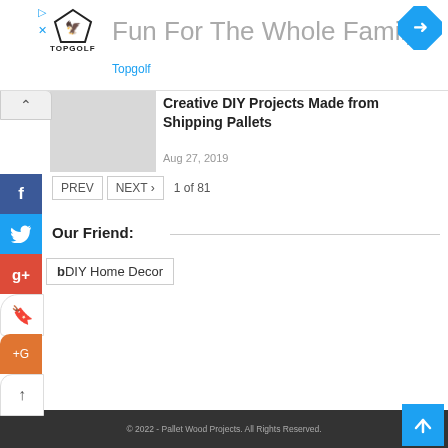[Figure (screenshot): Advertisement banner for TopGolf: Fun For The Whole Family]
Creative DIY Projects Made from Shipping Pallets
Aug 27, 2019
PREV  NEXT >  1 of 81
Our Friend:
DIY Home Decor
© 2022 - Pallet Wood Projects. All Rights Reserved.